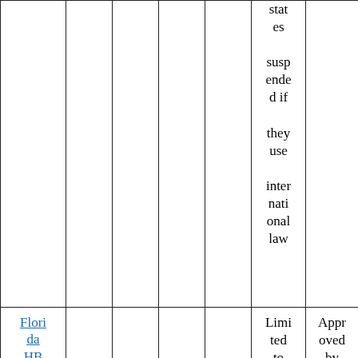|  |  |  |  |  | states suspended if they use international law |  |
| Florida HB 351 | X | X | X | X | Limited to Family | Approved by Judiciary |